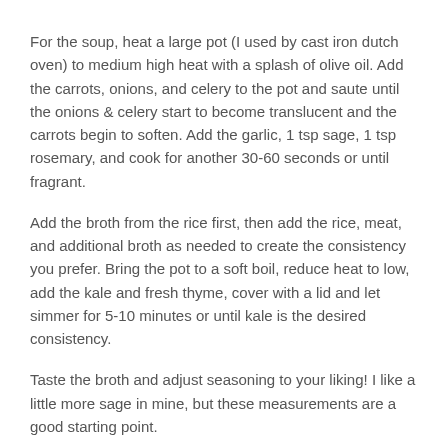For the soup, heat a large pot (I used by cast iron dutch oven) to medium high heat with a splash of olive oil. Add the carrots, onions, and celery to the pot and saute until the onions & celery start to become translucent and the carrots begin to soften. Add the garlic, 1 tsp sage, 1 tsp rosemary, and cook for another 30-60 seconds or until fragrant.
Add the broth from the rice first, then add the rice, meat, and additional broth as needed to create the consistency you prefer. Bring the pot to a soft boil, reduce heat to low, add the kale and fresh thyme, cover with a lid and let simmer for 5-10 minutes or until kale is the desired consistency.
Taste the broth and adjust seasoning to your liking! I like a little more sage in mine, but these measurements are a good starting point.
Serve with a little garlic bread if you like.
Eat well friends!